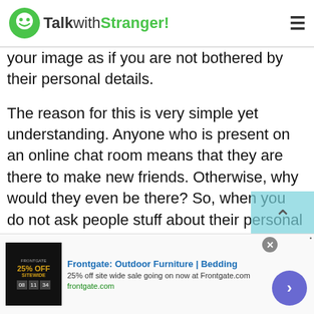TalkwithStranger!
your image as if you are not bothered by their personal details.
The reason for this is very simple yet understanding. Anyone who is present on an online chat room means that they are there to make new friends. Otherwise, why would they even be there? So, when you do not ask people stuff about their personal details, this drives them crazy. They shall never show that they are attracted to you by this act of yours. However, they will automatically ask for your details. Then it should be easy to swa...
[Figure (screenshot): Frontgate outdoor furniture advertisement banner with 25% off sitewide sale]